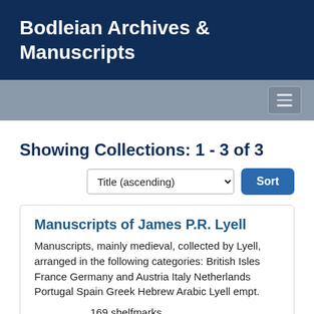Bodleian Archives & Manuscripts
Showing Collections: 1 - 3 of 3
Manuscripts of James P.R. Lyell
Manuscripts, mainly medieval, collected by Lyell, arranged in the following categories: British Isles France Germany and Austria Italy Netherlands Portugal Spain Greek Hebrew Arabic Lyell empt.
169 shelfmarks
11th-20th cent.